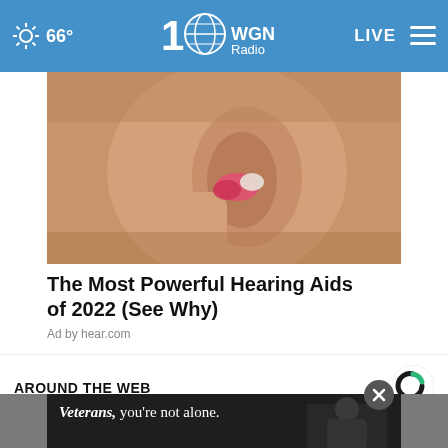66° WGN Radio LIVE
[Figure (photo): Close-up photo of a person inserting a small hearing aid into their ear, fingers visible holding the device]
The Most Powerful Hearing Aids of 2022 (See Why)
Ad by hear.com
AROUND THE WEB
[Figure (logo): Taboola logo — circle with C shape in green and dark]
[Figure (photo): Dark advertisement banner with text 'Veterans, you're not alone.' showing a person in military uniform, with a close button (×) overlay]